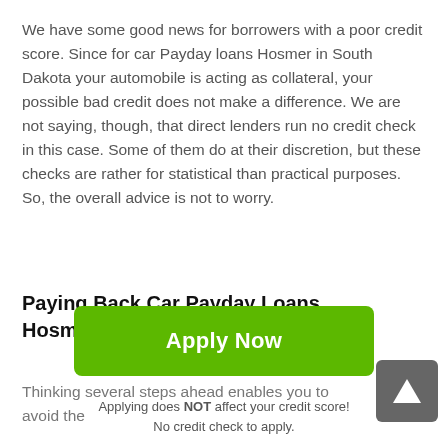We have some good news for borrowers with a poor credit score. Since for car Payday loans Hosmer in South Dakota your automobile is acting as collateral, your possible bad credit does not make a difference. We are not saying, though, that direct lenders run no credit check in this case. Some of them do at their discretion, but these checks are rather for statistical than practical purposes. So, the overall advice is not to worry.
Paying Back Car Payday Loans Hosmer, South Dakota
Thinking several steps ahead enables you to avoid the
[Figure (other): Dark grey square button with a white upward-pointing arrow, used as a scroll-to-top button]
[Figure (other): Green 'Apply Now' button]
Applying does NOT affect your credit score!
No credit check to apply.